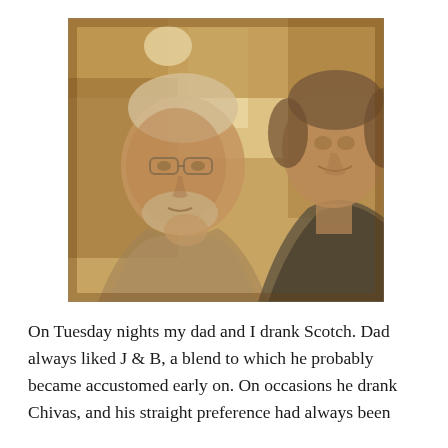[Figure (photo): A sepia-toned photograph of two elderly people sitting together indoors. The person on the left wears glasses and has white hair and a beard. The person on the right has shorter dark hair. The background shows a bright window and interior furnishings.]
On Tuesday nights my dad and I drank Scotch. Dad always liked J & B, a blend to which he probably became accustomed early on. On occasions he drank Chivas, and his straight preference had always been